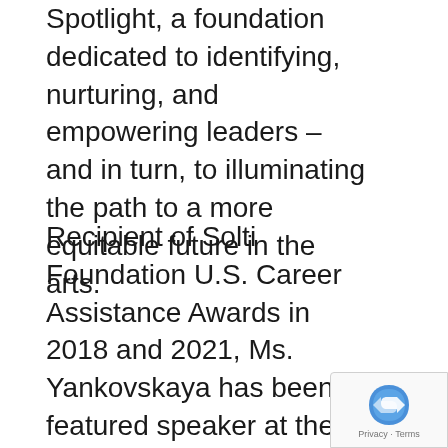Spotlight, a foundation dedicated to identifying, nurturing, and empowering leaders – and in turn, to illuminating the path to a more equitable future in the arts.
Recipient of Solti Foundation U.S. Career Assistance Awards in 2018 and 2021, Ms. Yankovskaya has been a featured speaker at the League of American Orchestras and Opera America conferences, and served as U.S. Representative to the 2018 World Opera Forum in